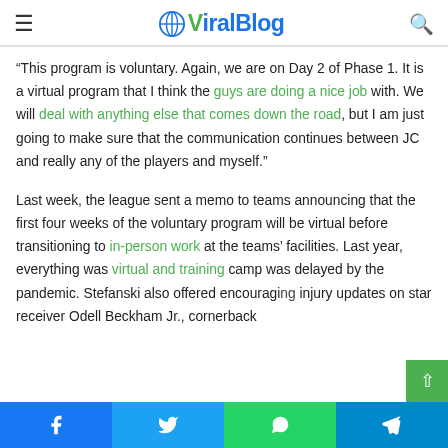ViralBlog
“This program is voluntary. Again, we are on Day 2 of Phase 1. It is a virtual program that I think the guys are doing a nice job with. We will deal with anything else that comes down the road, but I am just going to make sure that the communication continues between JC and really any of the players and myself.”
Last week, the league sent a memo to teams announcing that the first four weeks of the voluntary program will be virtual before transitioning to in-person work at the teams’ facilities. Last year, everything was virtual and training camp was delayed by the pandemic. Stefanski also offered encouraging injury updates on star receiver Odell Beckham Jr., cornerback
Facebook  Twitter  WhatsApp  Telegram